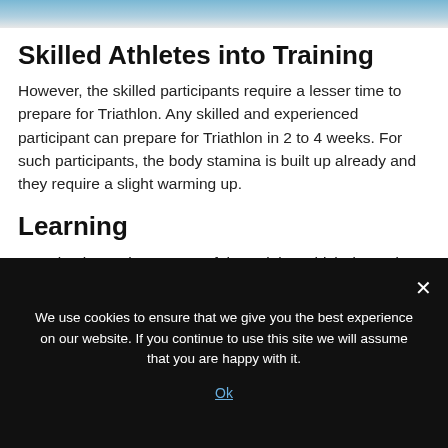[Figure (photo): Partial image of an athlete at the top of the page, cropped]
Skilled Athletes into Training
However, the skilled participants require a lesser time to prepare for Triathlon. Any skilled and experienced participant can prepare for Triathlon in 2 to 4 weeks. For such participants, the body stamina is built up already and they require a slight warming up.
Learning
Learning is another aspect of the training which depends on the skills of the participants. Swimming and cycling are tricky segments of the Triathlon which
We use cookies to ensure that we give you the best experience on our website. If you continue to use this site we will assume that you are happy with it.
Ok